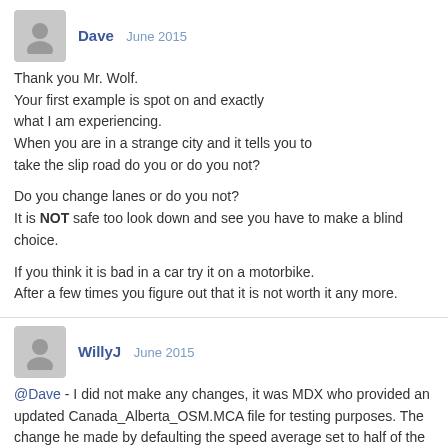[Figure (other): User avatar silhouette for Dave]
Dave   June 2015
Thank you Mr. Wolf.
Your first example is spot on and exactly what I am experiencing.
When you are in a strange city and it tells you to take the slip road do you or do you not?

Do you change lanes or do you not?
It is NOT safe too look down and see you have to make a blind choice.

If you think it is bad in a car try it on a motorbike.
After a few times you figure out that it is not worth it any more.
[Figure (other): User avatar silhouette for WillyJ]
WillyJ   June 2015
@Dave - I did not make any changes, it was MDX who provided an updated Canada_Alberta_OSM.MCA file for testing purposes. The change he made by defaulting the speed average set to half of the original value for sliproads worked for the test MCA file of Alberta that he provided.
[Figure (other): User avatar silhouette for tomas]
tomas   June 2015